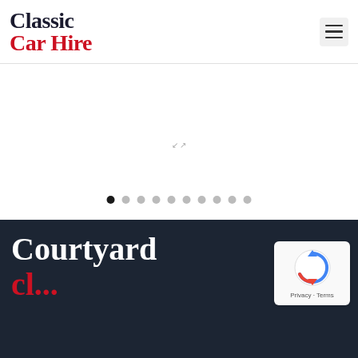Classic Car Hire
[Figure (screenshot): Website screenshot showing Classic Car Hire logo with navigation hamburger menu, a slider with dot pagination indicators (10 dots, first active), and a dark footer section with 'Courtyard' text in white and red, plus a reCAPTCHA Privacy-Terms badge in the bottom right]
Courtyard